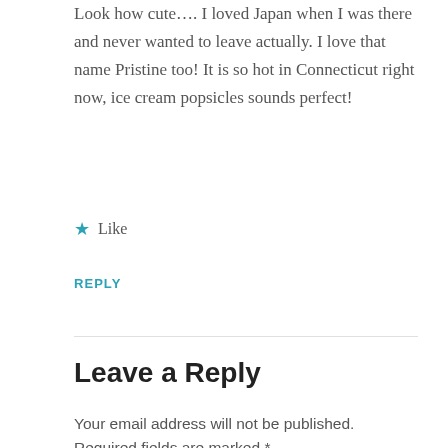Look how cute…. I loved Japan when I was there and never wanted to leave actually. I love that name Pristine too! It is so hot in Connecticut right now, ice cream popsicles sounds perfect!
★ Like
REPLY
Leave a Reply
Your email address will not be published. Required fields are marked *
Comment *